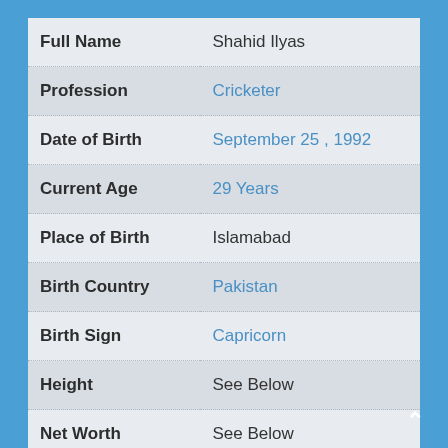| Field | Value |
| --- | --- |
| Full Name | Shahid Ilyas |
| Profession | Cricketer |
| Date of Birth | September 25 , 1992 |
| Current Age | 29 Years |
| Place of Birth | Islamabad |
| Birth Country | Pakistan |
| Birth Sign | Capricorn |
| Height | See Below |
| Net Worth | See Below |